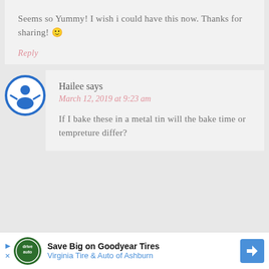Seems so Yummy! I wish i could have this now. Thanks for sharing! 🙂
Reply
Hailee says
March 12, 2019 at 9:23 am
If I bake these in a metal tin will the bake time or tempreture differ?
[Figure (infographic): Advertisement banner: Save Big on Goodyear Tires - Virginia Tire & Auto of Ashburn, with logo and directional arrow icon]